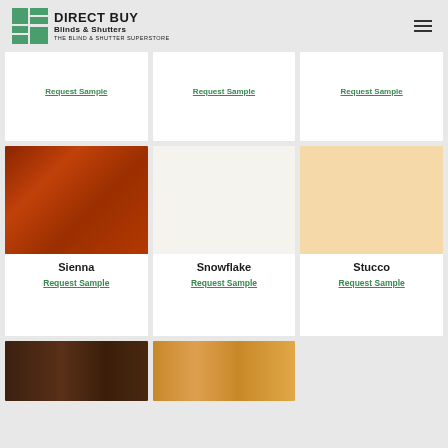[Figure (logo): Direct Buy Blinds & Shutters logo with green geometric icon and bold text]
Request Sample (partially visible, top row left)
Request Sample (partially visible, top row center)
Request Sample (partially visible, top row right)
[Figure (photo): Sienna – reddish-brown wood grain color swatch]
Sienna
Request Sample
[Figure (photo): Snowflake – off-white/cream color swatch]
Snowflake
Request Sample
[Figure (photo): Stucco – warm beige/peach color swatch]
Stucco
Request Sample
[Figure (photo): Dark walnut/espresso wood grain color swatch (bottom left, partially visible)]
[Figure (photo): Light honey/maple wood grain color swatch (bottom center, partially visible)]